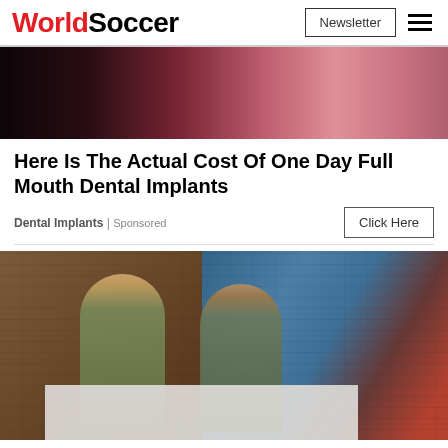WorldSoccer | Newsletter | Menu
[Figure (photo): Close-up photo of lips/mouth, pink and dark tones, used as advertisement banner image for dental implants ad]
Here Is The Actual Cost Of One Day Full Mouth Dental Implants
Dental Implants | Sponsored
[Figure (photo): Two young women standing against a graffiti wall, one blonde and one brunette, both holding ice cream cones, wearing casual jackets; a grey overlay panel appears at the bottom center of the image]